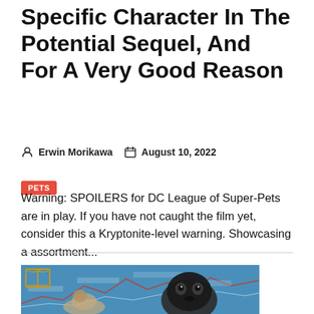Director Wants To Include A Specific Character In The Potential Sequel, And For A Very Good Reason
Erwin Morikawa  August 10, 2022
PETS
Warning: SPOILERS for DC League of Super-Pets are in play. If you have not caught the film yet, consider this a Kryptonite-level warning. Showcasing a assortment...
[Figure (photo): Two French bulldogs, one smaller and one larger, against a blue background with financial chart graphics. A small open-book icon overlay appears in the top left corner of the image.]